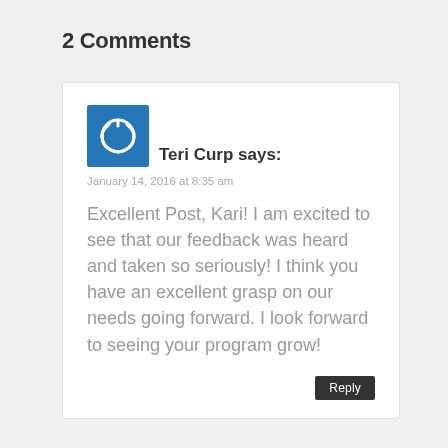2 Comments
Teri Curp says:
January 14, 2016 at 8:35 am
Excellent Post, Kari! I am excited to see that our feedback was heard and taken so seriously! I think you have an excellent grasp on our needs going forward. I look forward to seeing your program grow!
Reply